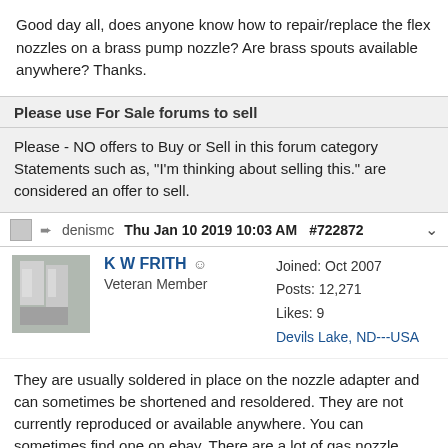Good day all, does anyone know how to repair/replace the flex nozzles on a brass pump nozzle? Are brass spouts available anywhere? Thanks.
Please use For Sale forums to sell
Please - NO offers to Buy or Sell in this forum category Statements such as, "I'm thinking about selling this." are considered an offer to sell.
denismc  Thu Jan 10 2019 10:03 AM  #722872
K W FRITH  Veteran Member  Joined: Oct 2007  Posts: 12,271  Likes: 9  Devils Lake, ND---USA
They are usually soldered in place on the nozzle adapter and can sometimes be shortened and resoldered. They are not currently reproduced or available anywhere. You can sometimes find one on ebay. There are a lot of gas nozzle bodies out there that are missing spouts and 99% will never find one.